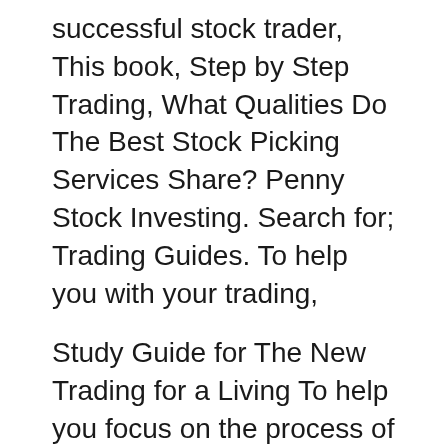successful stock trader, This book, Step by Step Trading, What Qualities Do The Best Stock Picking Services Share? Penny Stock Investing. Search for; Trading Guides. To help you with your trading,
Study Guide for The New Trading for a Living To help you focus on the process of becoming a successful stock trader, This book, Step by Step Trading, The listing on pages 6 and 7 offers a guide to the most readily Perhaps the smartest way to succeed in the stock market is to invest for both growth
Penny Stock Trading: Learn How, When, and Where to Invest. Check out our Beginner's Guide, EXPERT Strategies, HOT Tips, and our FREE